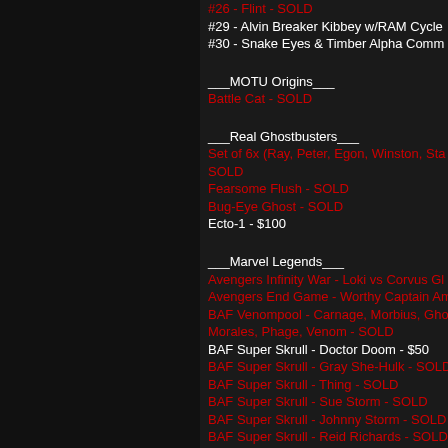#26 - Flint - SOLD
#29 - Alvin Breaker Kibbey w/RAM Cycle
#30 - Snake Eyes & Timber Alpha Comm
___MOTU Origins___
Battle Cat - SOLD
___Real Ghostbusters___
Set of 6x (Ray, Peter, Egon, Winston, Sta SOLD
Fearsome Flush - SOLD
Bug-Eye Ghost - SOLD
Ecto-1 - $100
___Marvel Legends___
Avengers Infinity War - Loki vs Corvus Gl
Avengers End Game - Worthy Captain Am
BAF Venompool - Carnage, Morbius, Gho Morales, Phage, Venom - SOLD
BAF Super Skrull - Doctor Doom - $50
BAF Super Skrull - Gray She-Hulk - SOLD
BAF Super Skrull - Thing - SOLD
BAF Super Skrull - Sue Storm - SOLD
BAF Super Skrull - Johnny Storm - SOLD
BAF Super Skrull - Reid Richards - SOLD
Retro Storm (White Suit) - $40
Retro Storm (Black Suit) - SOLD